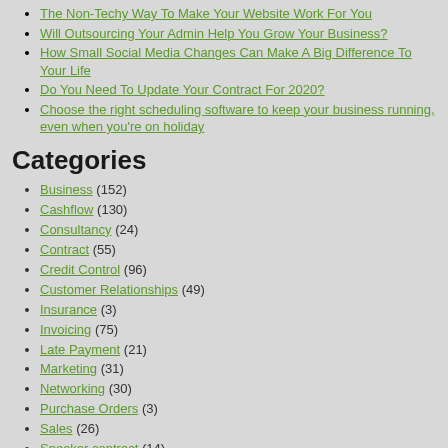The Non-Techy Way To Make Your Website Work For You
Will Outsourcing Your Admin Help You Grow Your Business?
How Small Social Media Changes Can Make A Big Difference To Your Life
Do You Need To Update Your Contract For 2020?
Choose the right scheduling software to keep your business running, even when you're on holiday
Categories
Business (152)
Cashflow (130)
Consultancy (24)
Contract (55)
Credit Control (96)
Customer Relationships (49)
Insurance (3)
Invoicing (75)
Late Payment (21)
Marketing (31)
Networking (30)
Purchase Orders (3)
Sales (26)
Speaker contract (14)
Terms and conditions (45)
Uncategorized (6)
Virtual Assistant (20)